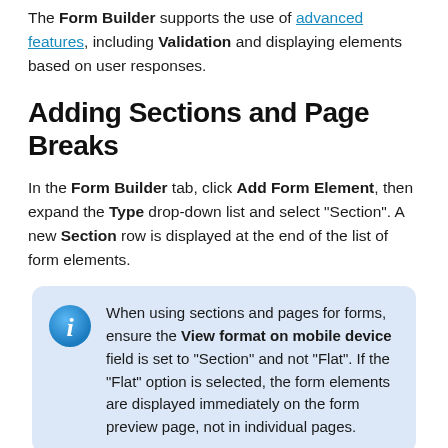The Form Builder supports the use of advanced features, including Validation and displaying elements based on user responses.
Adding Sections and Page Breaks
In the Form Builder tab, click Add Form Element, then expand the Type drop-down list and select "Section". A new Section row is displayed at the end of the list of form elements.
When using sections and pages for forms, ensure the View format on mobile device field is set to "Section" and not "Flat". If the "Flat" option is selected, the form elements are displayed immediately on the form preview page, not in individual pages.